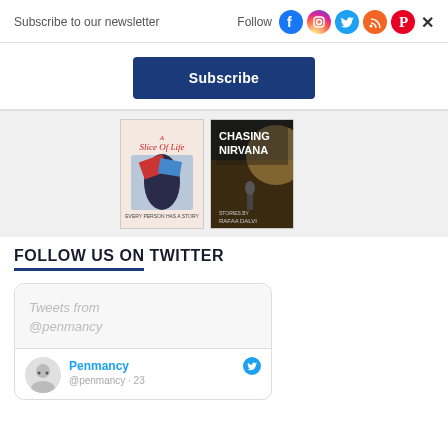Subscribe to our newsletter
Follow
[Figure (infographic): Social media follow icons: Facebook, Instagram, Twitter, RSS, Pinterest, close button]
Subscribe
[Figure (photo): Book cover: A Slice of Life - Every Person Has a Story]
[Figure (photo): Book cover: Chasing Nirvana - Stories by Rafaa Dalvi]
FOLLOW US ON TWITTER
Tweets from @penmancy
Penmancy